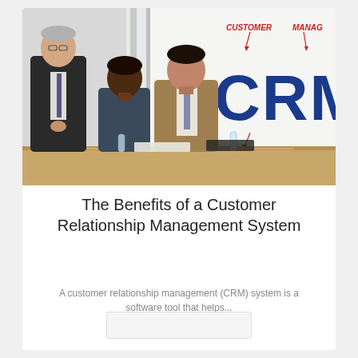[Figure (photo): Business meeting scene: three people seated at a conference table, one older man in suit standing. Behind them a whiteboard shows 'CRM' in large blue letters with 'CUSTOMER', 'MANAG', and 'RELATIONSHIP' written in red handwriting with arrows.]
The Benefits of a Customer Relationship Management System
A customer relationship management (CRM) system is a software tool that helps...